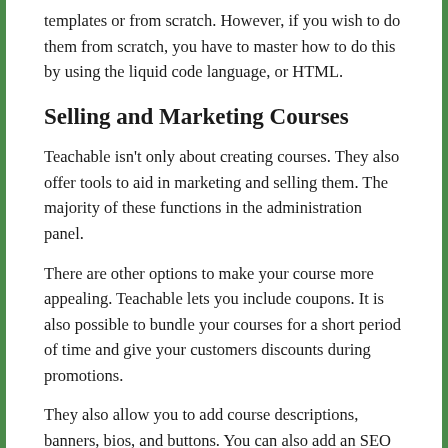templates or from scratch. However, if you wish to do them from scratch, you have to master how to do this by using the liquid code language, or HTML.
Selling and Marketing Courses
Teachable isn't only about creating courses. They also offer tools to aid in marketing and selling them. The majority of these functions in the administration panel.
There are other options to make your course more appealing. Teachable lets you include coupons. It is also possible to bundle your courses for a short period of time and give your customers discounts during promotions.
They also allow you to add course descriptions, banners, bios, and buttons. You can also add an SEO page title and a meta description.